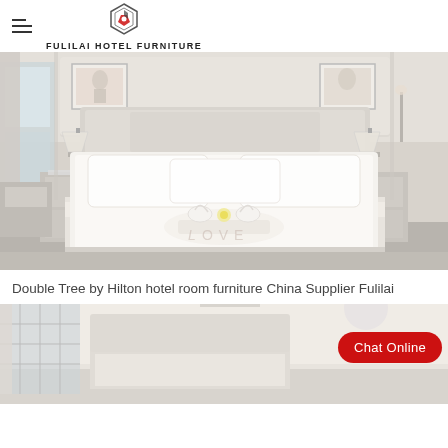FULILAI HOTEL FURNITURE
[Figure (photo): Hotel room with a large white bed dressed with white linens, towel swans decoration, nightstands with lamps, framed artwork on the wall, and a writing desk area in the background.]
Double Tree by Hilton hotel room furniture China Supplier Fulilai
[Figure (photo): Hotel room interior with light-colored walls and furniture, partial view.]